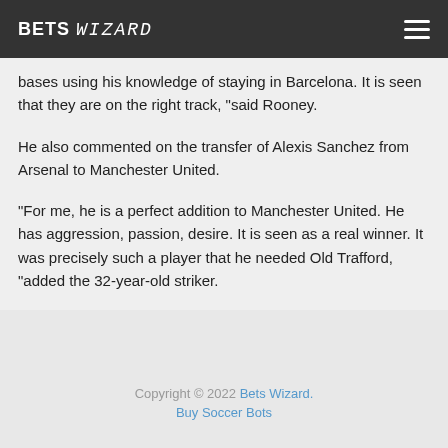BETS WIZARD
bases using his knowledge of staying in Barcelona. It is seen that they are on the right track, “said Rooney.
He also commented on the transfer of Alexis Sanchez from Arsenal to Manchester United.
“For me, he is a perfect addition to Manchester United. He has aggression, passion, desire. It is seen as a real winner. It was precisely such a player that he needed Old Trafford, “added the 32-year-old striker.
Copyright © 2022 Bets Wizard.
Buy Soccer Bots